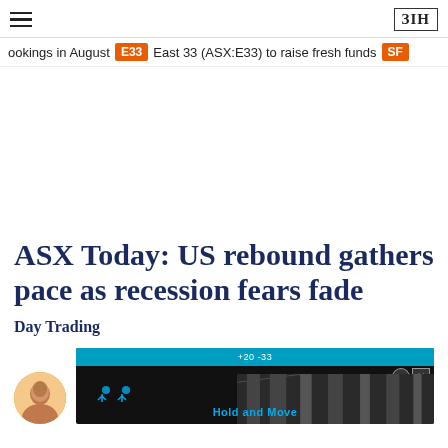≡  ЗIH
ookings in August  E33  East 33 (ASX:E33) to raise fresh funds  SF
ASX Today: US rebound gathers pace as recession fears fade
Day Trading
[Figure (photo): Author avatar and advertisement image for 'Hold and Move' showing silhouette figures and winter trees]